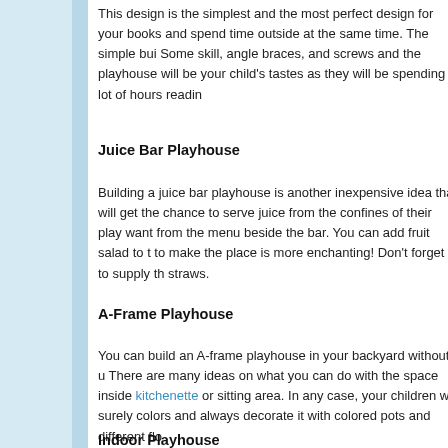This design is the simplest and the most perfect design for your books and spend time outside at the same time. The simple bui Some skill, angle braces, and screws and the playhouse will be your child's tastes as they will be spending a lot of hours readin
Juice Bar Playhouse
Building a juice bar playhouse is another inexpensive idea that will get the chance to serve juice from the confines of their play want from the menu beside the bar. You can add fruit salad to t to make the place is more enchanting! Don't forget to supply th straws.
A-Frame Playhouse
You can build an A-frame playhouse in your backyard without u There are many ideas on what you can do with the space inside kitchenette or sitting area. In any case, your children will surely colors and always decorate it with colored pots and different flo
Indoor Playhouse
This sounds rather counterproductive because what's the point